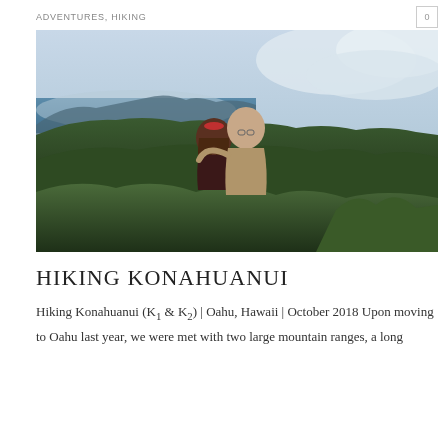ADVENTURES, HIKING
[Figure (photo): A couple posing on a mountain summit with lush green ridgelines, ocean, and cloudy sky in the background. The woman wears a red headband and dark top; the man wears a light khaki shirt. The scene is Konahuanui, Oahu, Hawaii.]
HIKING KONAHUANUI
Hiking Konahuanui (K1 & K2) | Oahu, Hawaii | October 2018 Upon moving to Oahu last year, we were met with two large mountain ranges, a long